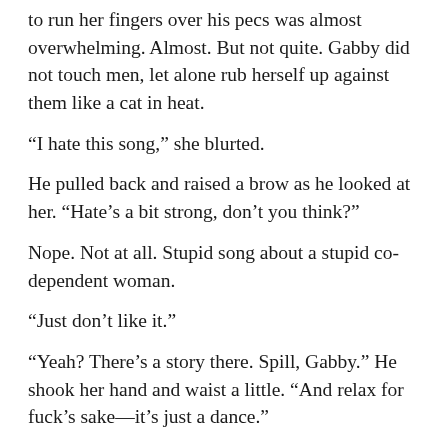to run her fingers over his pecs was almost overwhelming. Almost. But not quite. Gabby did not touch men, let alone rub herself up against them like a cat in heat.
“I hate this song,” she blurted.
He pulled back and raised a brow as he looked at her. “Hate’s a bit strong, don’t you think?”
Nope. Not at all. Stupid song about a stupid co-dependent woman.
“Just don’t like it.”
“Yeah? There’s a story there. Spill, Gabby.” He shook her hand and waist a little. “And relax for fuck’s sake—it’s just a dance.”
Maybe for him. But she hadn’t been held by a man like this in a long time. Hmm, or maybe ever.
“I told you I couldn’t dance.”
“You’re doing fine.” He rubbed his hand in circles at the small of her back, shooting arrows of desire straight to the pulsing bull’s-eye between her legs. “Just relax and let me lead.”